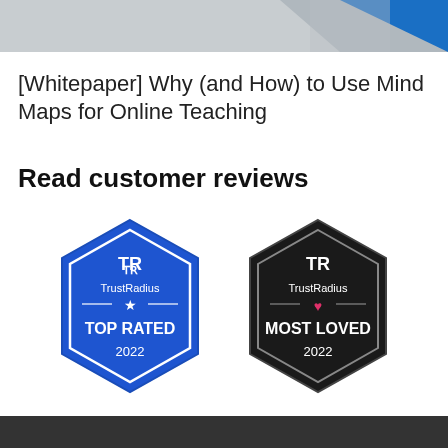[Figure (photo): Top partial image showing a blue geometric shape or arrow on a light grey background]
[Whitepaper] Why (and How) to Use Mind Maps for Online Teaching
Read customer reviews
[Figure (logo): TrustRadius TOP RATED 2022 badge — blue hexagon shape with TrustRadius logo, star, and text TOP RATED 2022]
[Figure (logo): TrustRadius MOST LOVED 2022 badge — black hexagon shape with TrustRadius logo, heart, and text MOST LOVED 2022]